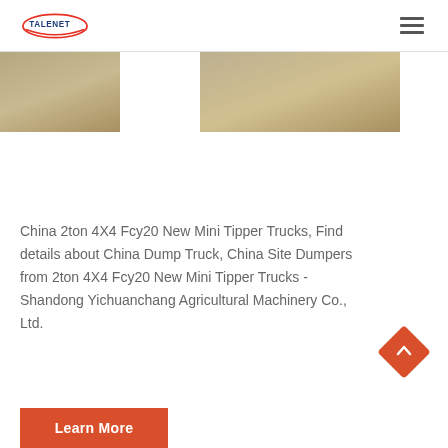TALENET
[Figure (photo): Partial view of mini tipper trucks photographed outdoors, shown as a horizontal strip with grey/brown tones]
China 2ton 4X4 Fcy20 New Mini Tipper Trucks, Find details about China Dump Truck, China Site Dumpers from 2ton 4X4 Fcy20 New Mini Tipper Trucks - Shandong Yichuanchang Agricultural Machinery Co., Ltd.
Learn More